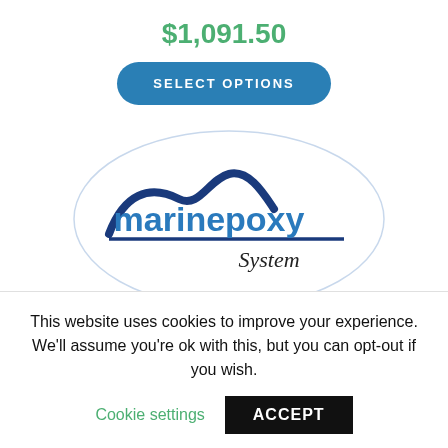$1,091.50
SELECT OPTIONS
[Figure (logo): MarinEpoxy System logo with wave graphic in blue]
MarinEpoxy-Fiberglass Kit E-Cat 24 (EC24)
This website uses cookies to improve your experience. We'll assume you're ok with this, but you can opt-out if you wish.
Cookie settings
ACCEPT